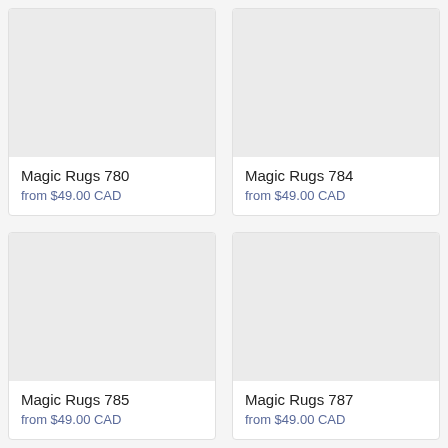[Figure (photo): Product image placeholder (light gray rectangle) for Magic Rugs 780]
Magic Rugs 780
from $49.00 CAD
[Figure (photo): Product image placeholder (light gray rectangle) for Magic Rugs 784]
Magic Rugs 784
from $49.00 CAD
[Figure (photo): Product image placeholder (light gray rectangle) for Magic Rugs 785]
Magic Rugs 785
from $49.00 CAD
[Figure (photo): Product image placeholder (light gray rectangle) for Magic Rugs 787]
Magic Rugs 787
from $49.00 CAD